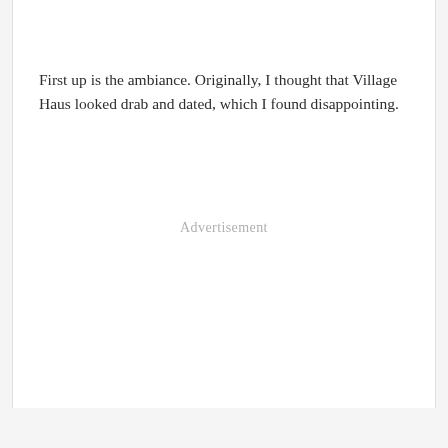First up is the ambiance. Originally, I thought that Village Haus looked drab and dated, which I found disappointing.
Advertisement